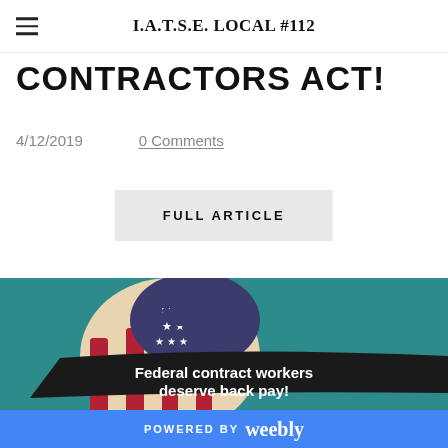I.A.T.S.E. LOCAL #112
CONTRACTORS ACT!
4/12/2019   0 Comments
FULL ARTICLE
[Figure (illustration): Illustration of a raised fist decorated with the American flag (red stripes and blue field with white stars) on a teal background, with a black brushstroke band across the middle containing white bold text: 'Federal contract workers deserve back pay!']
POWERED BY weebly